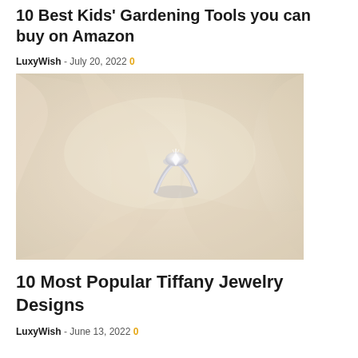10 Best Kids' Gardening Tools you can buy on Amazon
LuxyWish - July 20, 2022 0
[Figure (photo): A diamond solitaire engagement ring resting on cream/ivory satin fabric with soft folds and drapes.]
10 Most Popular Tiffany Jewelry Designs
LuxyWish - June 13, 2022 0